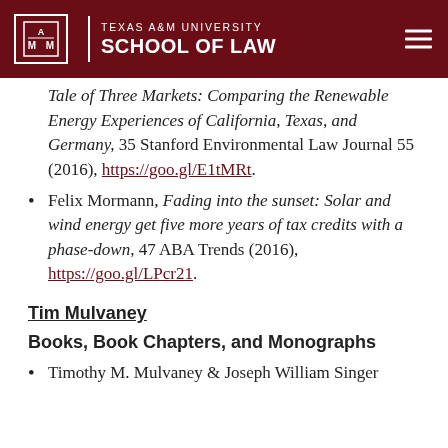Texas A&M University School of Law
Tale of Three Markets: Comparing the Renewable Energy Experiences of California, Texas, and Germany, 35 Stanford Environmental Law Journal 55 (2016), https://goo.gl/E1tMRt.
Felix Mormann, Fading into the sunset: Solar and wind energy get five more years of tax credits with a phase-down, 47 ABA Trends (2016), https://goo.gl/LPcr21.
Tim Mulvaney
Books, Book Chapters, and Monographs
Timothy M. Mulvaney & Joseph William Singer